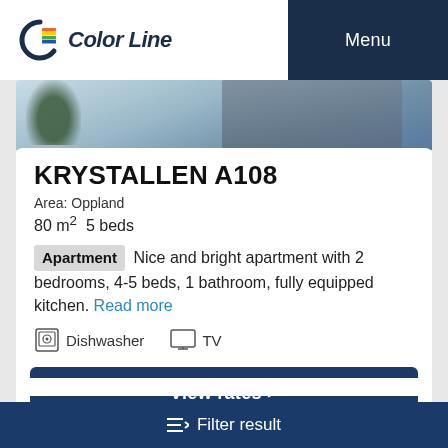Color Line | Menu
[Figure (photo): Partial exterior photo of a building with trees]
KRYSTALLEN A108
Area: Oppland
80 m² 5 beds
Apartment Nice and bright apartment with 2 bedrooms, 4-5 beds, 1 bathroom, fully equipped kitchen. Read more
Dishwasher TV
View rates >
Filter result